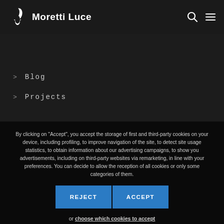[Figure (logo): Moretti Luce logo with white leaf/wing icon and bold white text 'Moretti Luce' on dark header bar]
> Blog
> Projects
By clicking on "Accept", you accept the storage of first and third-party cookies on your device, including profiling, to improve navigation of the site, to detect site usage statistics, to obtain information about our advertising campaigns, to show you advertisements, including on third-party websites via remarketing, in line with your preferences. You can decide to allow the reception of all cookies or only some categories of them.
REJECT
ACCEPT
or choose which cookies to accept
If you want more details about the use of cookies on this site read our cookies policy.
VAT N. 01611160985